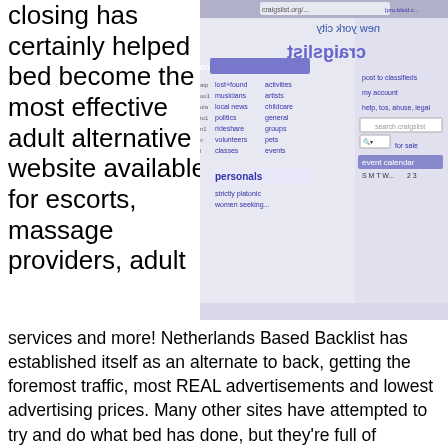closing has certainly helped bed become the most effective adult alternative website available for escorts, massage providers, adult
[Figure (screenshot): Screenshot of Craigslist website (mirrored/reflected) showing the New York City page with community and personals sections visible]
services and more! Netherlands Based Backlist has established itself as an alternate to back, getting the foremost traffic, most REAL advertisements and lowest advertising prices. Many other sites have attempted to try and do what bed has done, but they're full of problems, from payment processor issues, theft,